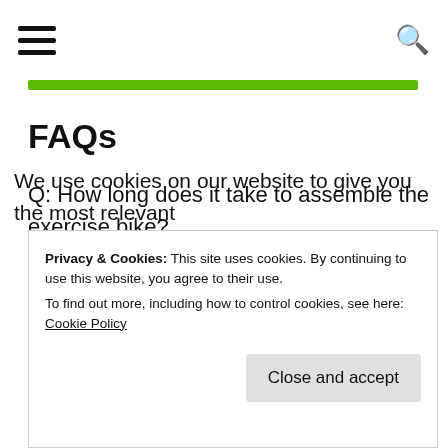Navigation bar with hamburger menu and search icon
FAQs
Q: How long does it take to assemble the exercise bike?
A: Around 30 minutes thanks to the instruction video.
We use cookies on our website to give you the most relevant
Privacy & Cookies: This site uses cookies. By continuing to use this website, you agree to their use.
To find out more, including how to control cookies, see here: Cookie Policy
Close and accept